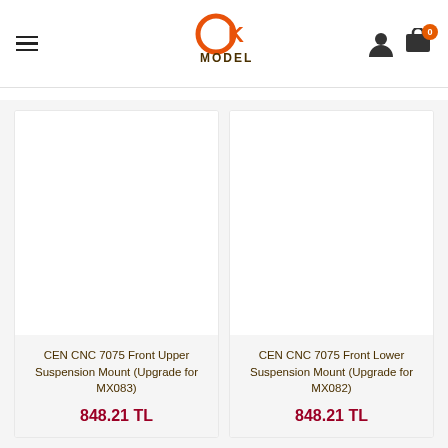OK Model — navigation header with logo, hamburger menu, user icon, and cart
[Figure (photo): White blank product image placeholder for CEN CNC 7075 Front Upper Suspension Mount]
CEN CNC 7075 Front Upper Suspension Mount (Upgrade for MX083)
848.21 TL
[Figure (photo): White blank product image placeholder for CEN CNC 7075 Front Lower Suspension Mount]
CEN CNC 7075 Front Lower Suspension Mount (Upgrade for MX082)
848.21 TL